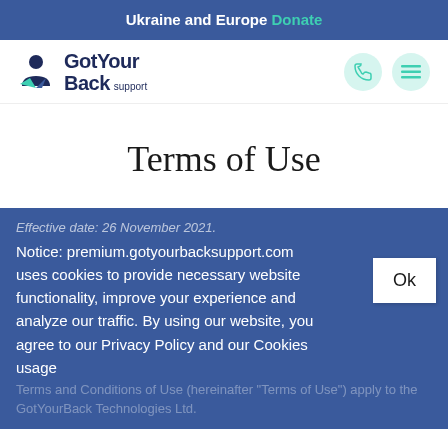Ukraine and Europe Donate
[Figure (logo): GotYourBack support logo with circle and arrow icon]
Terms of Use
Effective date: 26 November 2021.
Notice: premium.gotyourbacksupport.com uses cookies to provide necessary website functionality, improve your experience and analyze our traffic. By using our website, you agree to our Privacy Policy and our Cookies usage
Terms and Conditions of Use (hereinafter "Terms of Use") apply to the GotYourBack Technologies Ltd.